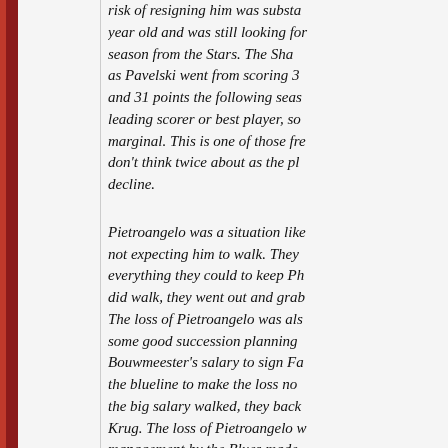risk of resigning him was substa year old and was still looking for season from the Stars. The Sha as Pavelski went from scoring 3 and 31 points the following seas leading scorer or best player, so marginal. This is one of those fr don't think twice about as the pl decline.
Pietroangelo was a situation like not expecting him to walk. They everything they could to keep Ph did walk, they went out and grab The loss of Pietroangelo was als some good succession planning Bouwmeester's salary to sign Fa the blueline to make the loss no the big salary walked, they back Krug. The loss of Pietroangelo w management by the Blues made
And look at the state of that orga
Yes, they should. The writing is hockey trade.